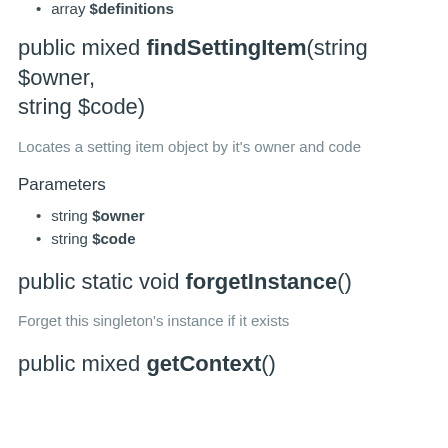array $definitions
public mixed findSettingItem(string $owner, string $code)
Locates a setting item object by it's owner and code
Parameters
string $owner
string $code
public static void forgetInstance()
Forget this singleton's instance if it exists
public mixed getContext()